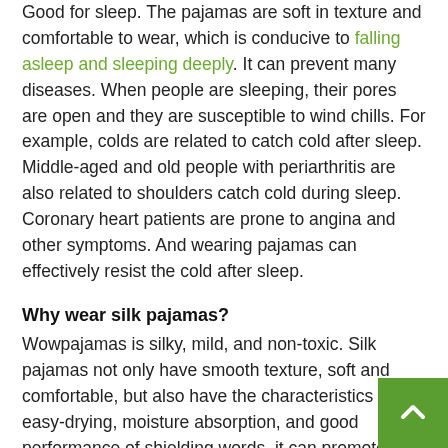Good for sleep. The pajamas are soft in texture and comfortable to wear, which is conducive to falling asleep and sleeping deeply. It can prevent many diseases. When people are sleeping, their pores are open and they are susceptible to wind chills. For example, colds are related to catch cold after sleep. Middle-aged and old people with periarthritis are also related to shoulders catch cold during sleep. Coronary heart patients are prone to angina and other symptoms. And wearing pajamas can effectively resist the cold after sleep.
Why wear silk pajamas?
Wowpajamas is silky, mild, and non-toxic. Silk pajamas not only have smooth texture, soft and comfortable, but also have the characteristics of easy-drying, moisture absorption, and good performance of shielding words, it can promote the vitality of the body's epidermal cells, promote cell metabolism, and produce a delicate massage on the skin. Effect, thereby reducing the chances of microorganisms breeding on the skin, and has a special health effect on the human body. Bedridden elderly